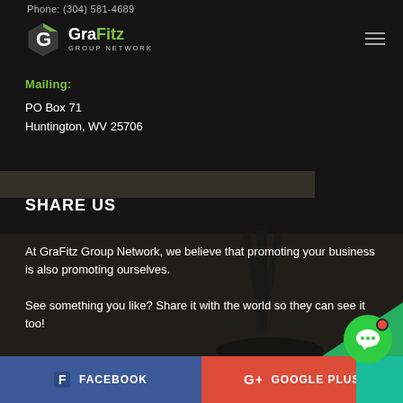Phone: (304) 581-4689
[Figure (logo): GraFitz Group Network logo with stylized G icon in white and green]
Mailing:
PO Box 71
Huntington, WV 25706
SHARE US
At GraFitz Group Network, we believe that promoting your business is also promoting ourselves.
See something you like? Share it with the world so they can see it too!
[Figure (other): Facebook button (blue) and Google Plus button (red) at bottom of page]